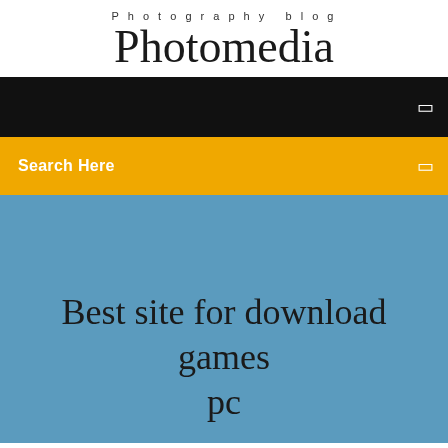Photography blog
Photomedia
[Figure (screenshot): Black navigation bar with small white icon on right side]
Search Here
Best site for download games pc